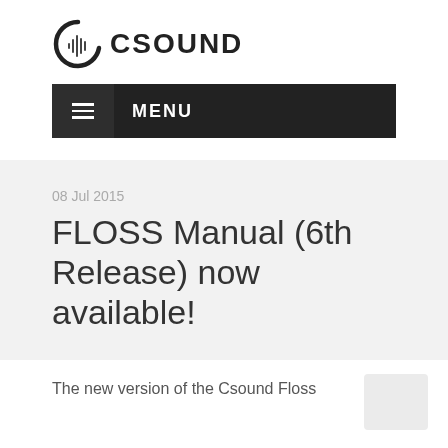[Figure (logo): Csound logo: stylized letter C with soundwave inside, followed by bold text CSOUND]
≡  MENU
08 Jul 2015
FLOSS Manual (6th Release) now available!
The new version of the Csound Floss